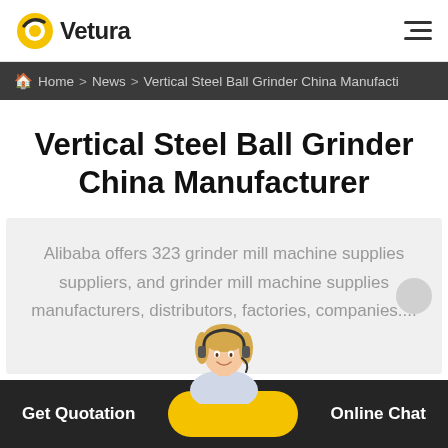Vetura
Home > News > Vertical Steel Ball Grinder China Manufacti
Vertical Steel Ball Grinder China Manufacturer
Alibaba offers 323 grinder mill machine supplies suppliers, and grinder mill machine supplies manufacturers, distributors, factories, companies....
Get Quotation   Online Chat